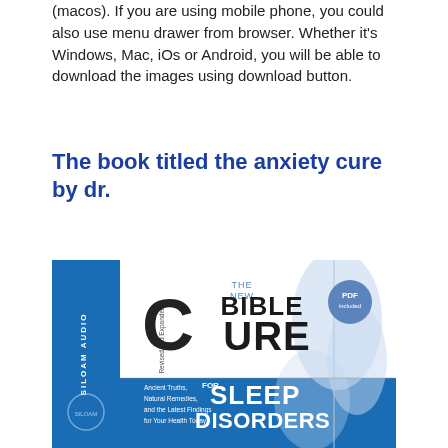(macos). If you are using mobile phone, you could also use menu drawer from browser. Whether it's Windows, Mac, iOs or Android, you will be able to download the images using download button.
The book titled the anxiety cure by dr.
[Figure (photo): Book cover of 'The New Bible Cure for Sleep Disorders' published by Siloam Audio, Revised and Expanded edition. Features large text 'BIBLE CURE for SLEEP DISORDERS' with blue design and leaf motif. Subtitle: 'Ancient Truths, Natural Remedies, and the Latest Findings for Your Health Today'. A circular badge reads 'PDF included'.]